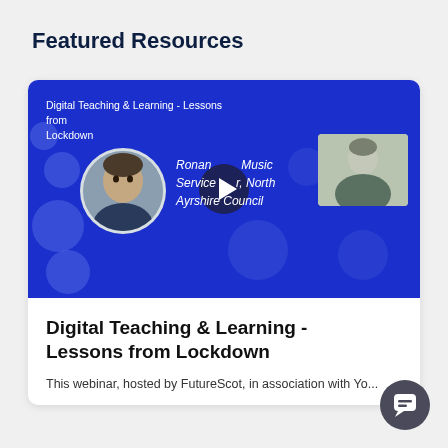Featured Resources
[Figure (screenshot): Video thumbnail with blue background showing 'Digital Teaching & Learning - Lessons from Lockdown' with a presenter's circular headshot on the left, a play button in the center, the text 'Ronan Music Service r, North Ayrshire Council' and an inset video of another person on the right.]
Digital Teaching & Learning - Lessons from Lockdown
This webinar, hosted by FutureScot, in association with You...digital...